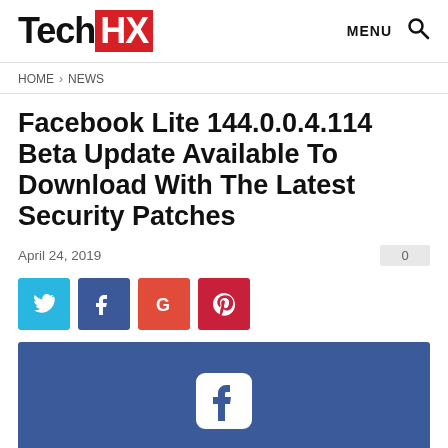TechHX  MENU 🔍
HOME > NEWS
Facebook Lite 144.0.0.4.114 Beta Update Available To Download With The Latest Security Patches
April 24, 2019
[Figure (other): Social share buttons: Twitter (blue), Facebook (dark blue), Google+ (red-orange), Pinterest (red)]
[Figure (other): Facebook branded image with blue background and white Facebook 'f' logo icon centered]